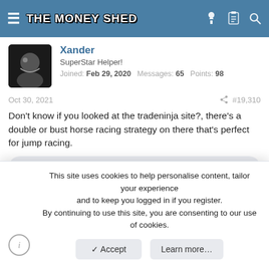THE MONEY SHED
Xander
SuperStar Helper!
Joined: Feb 29, 2020  Messages: 65  Points: 98
Oct 30, 2021  #19,310
Don't know if you looked at the tradeninja site?, there's a double or bust horse racing strategy on there that's perfect for jump racing.
Jon
geobabuk
This site uses cookies to help personalise content, tailor your experience and to keep you logged in if you register.
By continuing to use this site, you are consenting to our use of cookies.
Accept  Learn more…